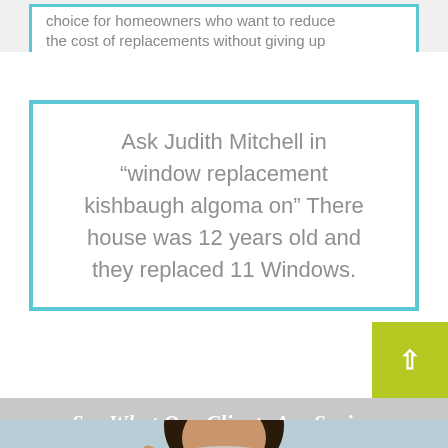choice for homeowners who want to reduce the cost of replacements without giving up
Ask Judith Mitchell in "window replacement kishbaugh algoma on" There house was 12 years old and they replaced 11 Windows.
See What Our Clients Are Saying
[Figure (photo): Partial view of a dark-haired woman, cropped at the bottom of the page, against a light blue-gray background.]